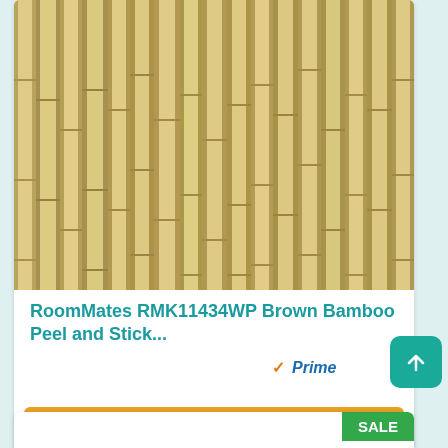[Figure (photo): Close-up photo of brown bamboo stalks arranged vertically, showing natural texture and color of bamboo]
RoomMates RMK11434WP Brown Bamboo Peel and Stick...
[Figure (logo): Amazon Prime logo with orange checkmark and blue italic 'Prime' text]
Check the price
SALE